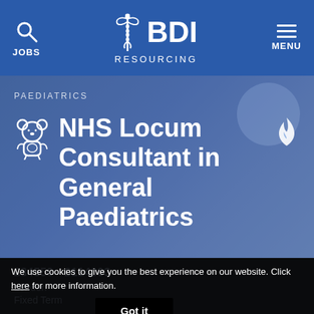JOBS | BDI RESOURCING | MENU
PAEDIATRICS
NHS Locum Consultant in General Paediatrics
£84559 - £114003
London
Fixed Term
We use cookies to give you the best experience on our website. Click here for more information. Got it